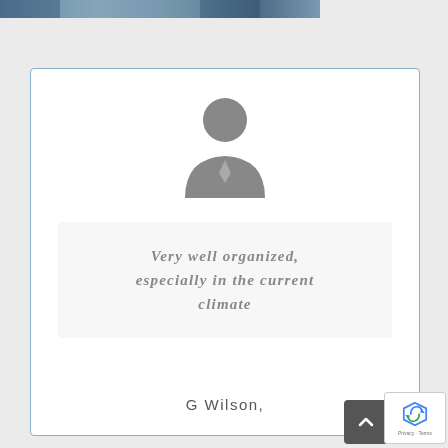[Figure (photo): Top strip showing a partially visible image, likely a banner or header photo]
[Figure (illustration): Generic person/user avatar icon — grey silhouette of a business person with head, shoulders, and tie]
Very well organized, especially in the current climate
G Wilson,